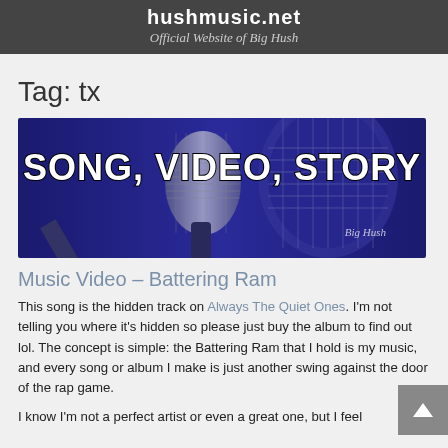Official Website of Big Hush
Tag: tx
[Figure (illustration): Promotional banner image with dark blue background showing a close-up of a microphone. Bold white text reads 'SONG, VIDEO, STORY' with a signature in the lower right.]
Music Video – Battering Ram
This song is the hidden track on Always The Quiet Ones. I'm not telling you where it's hidden so please just buy the album to find out lol. The concept is simple: the Battering Ram that I hold is my music, and every song or album I make is just another swing against the door of the rap game.
I know I'm not a perfect artist or even a great one, but I feel